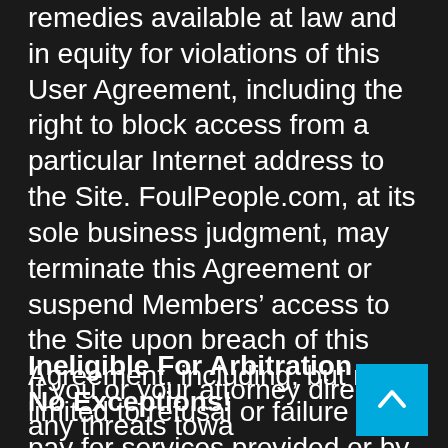remedies available at law and in equity for violations of this User Agreement, including the right to block access from a particular Internet address to the Site. FoulPeople.com, at its sole business judgment, may terminate this Agreement or suspend Members' access to the Site upon breach of this Agreement, including, but not limited to refusal or failure to pay for services provided or by sole judgment of FoulPeople.com that Member may be performing activities harmful to FoulPeople.com or its Members, employees, vendors, business relationships, or other Members of the Site.
Ineligible For Arbitration – No Exceptions!
If you or your attorney direct any threats towards the owners of this site, then said post will promptly and permanently be placed on our ineligible for